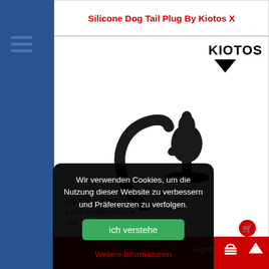Silicone Dog Tail Plug By Kiotos X
[Figure (photo): Product photo of a silicone dog tail butt plug — black silicone plug with a curved tail attachment, photographed against white background. KIOTOS brand logo in top right corner.]
...ing role-playing games. ...t and flexible silicone ...use. This butt plug has
Wir verwenden Cookies, um die Nutzung dieser Website zu verbessern und Präferenzen zu verfolgen.
ich verstehe
Weitere Informationen
...egen